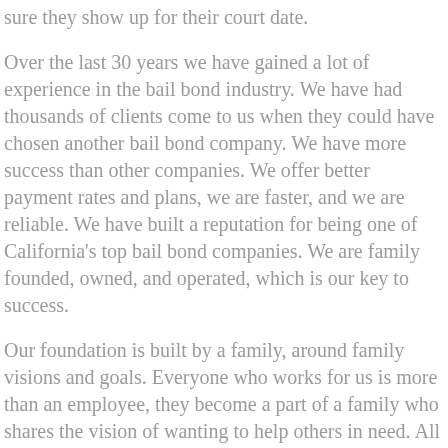sure they show up for their court date.
Over the last 30 years we have gained a lot of experience in the bail bond industry. We have had thousands of clients come to us when they could have chosen another bail bond company. We have more success than other companies. We offer better payment rates and plans, we are faster, and we are reliable. We have built a reputation for being one of California's top bail bond companies. We are family founded, owned, and operated, which is our key to success.
Our foundation is built by a family, around family visions and goals. Everyone who works for us is more than an employee, they become a part of a family who shares the vision of wanting to help others in need. All clients become a family member to us as well, and we treat each and every one like one. Clients tell us that no other bail bond company gives off the same genuine vibe as we do. This is why we are the best company for your bail bond needs.